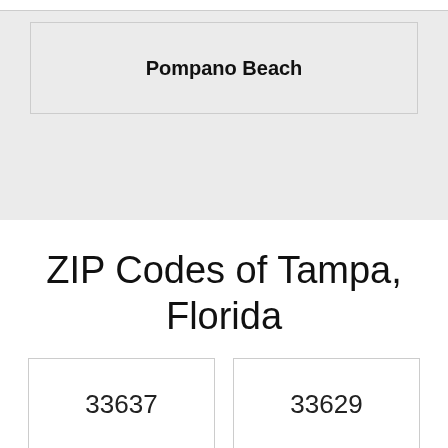Pompano Beach
ZIP Codes of Tampa, Florida
33637
33629